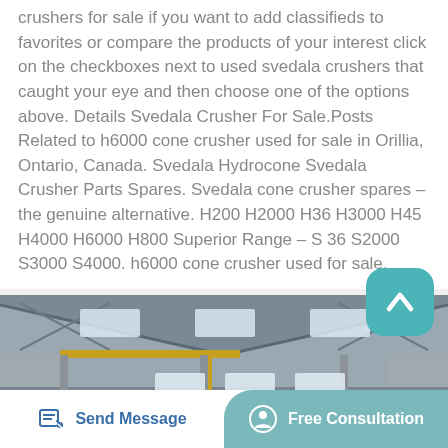crushers for sale if you want to add classifieds to favorites or compare the products of your interest click on the checkboxes next to used svedala crushers that caught your eye and then choose one of the options above. Details Svedala Crusher For Sale.Posts Related to h6000 cone crusher used for sale in Orillia, Ontario, Canada. Svedala Hydrocone Svedala Crusher Parts Spares. Svedala cone crusher spares – the genuine alternative. H200 H2000 H36 H3000 H45 H4000 H6000 H800 Superior Range – S 36 S2000 S3000 S4000. h6000 cone crusher used for sale.
[Figure (photo): Interior of a large industrial warehouse or factory building with steel roof trusses, skylights, and yellow overhead crane visible.]
Send Message
Free Consultation